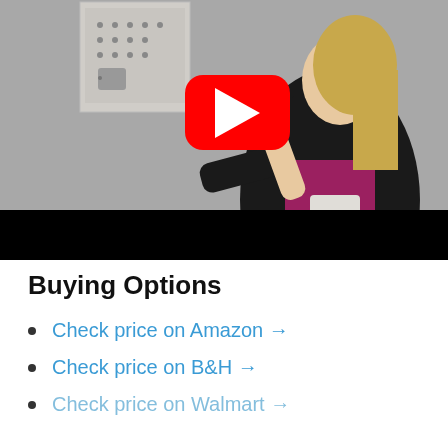[Figure (screenshot): YouTube video thumbnail showing a woman in a black jacket and magenta top standing near a wall-mounted keypad/lockbox, with a YouTube play button overlay in the center.]
Buying Options
Check price on Amazon →
Check price on B&H →
Check price on Walmart →